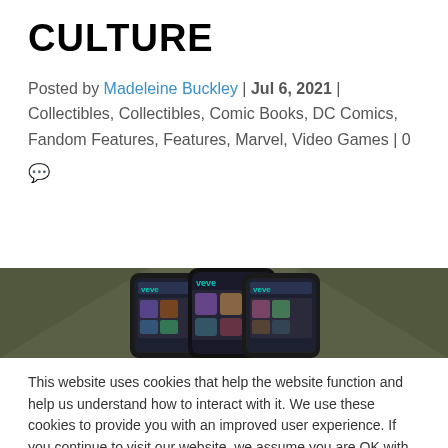CULTURE
Posted by Madeleine Buckley | Jul 6, 2021 | Collectibles, Collectibles, Comic Books, DC Comics, Fandom Features, Features, Marvel, Video Games | 0
[Figure (photo): Three smartphones displaying an app called VEVE shown on a dark olive/green background]
This website uses cookies that help the website function and help us understand how to interact with it. We use these cookies to provide you with an improved user experience. If you continue to visit our website, we assume you are OK with it. Read More
Cookie settings   Got It!